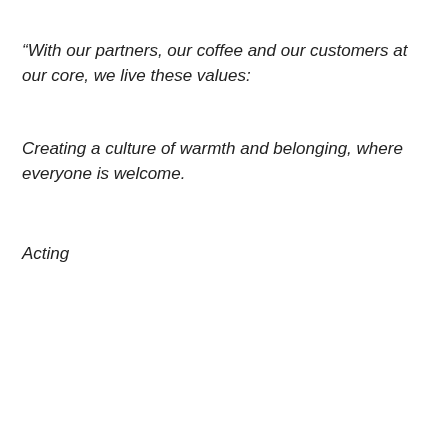“With our partners, our coffee and our customers at our core, we live these values:
Creating a culture of warmth and belonging, where everyone is welcome.
Acting